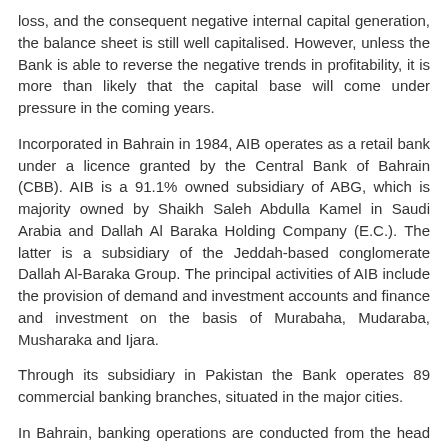loss, and the consequent negative internal capital generation, the balance sheet is still well capitalised. However, unless the Bank is able to reverse the negative trends in profitability, it is more than likely that the capital base will come under pressure in the coming years.
Incorporated in Bahrain in 1984, AIB operates as a retail bank under a licence granted by the Central Bank of Bahrain (CBB). AIB is a 91.1% owned subsidiary of ABG, which is majority owned by Shaikh Saleh Abdulla Kamel in Saudi Arabia and Dallah Al Baraka Holding Company (E.C.). The latter is a subsidiary of the Jeddah-based conglomerate Dallah Al-Baraka Group. The principal activities of AIB include the provision of demand and investment accounts and finance and investment on the basis of Murabaha, Mudaraba, Musharaka and Ijara.
Through its subsidiary in Pakistan the Bank operates 89 commercial banking branches, situated in the major cities.
In Bahrain, banking operations are conducted from the head office and 6 branches. Total assets at end 2012 were